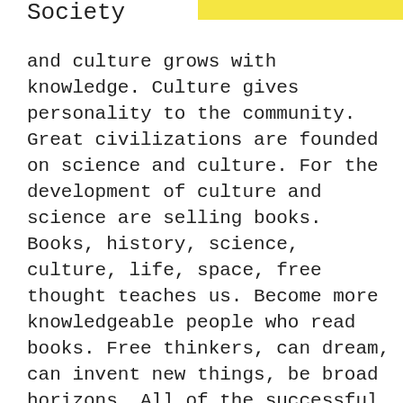Society
and culture grows with knowledge. Culture gives personality to the community. Great civilizations are founded on science and culture. For the development of culture and science are selling books. Books, history, science, culture, life, space, free thought teaches us. Become more knowledgeable people who read books. Free thinkers, can dream, can invent new things, be broad horizons. All of the successful people in history, they have read a lot of books. We have to establish our home library. In this way, we can protect our historic culture. Our children should read books galore. Books are the best friend of children. If we have a library in our house, our family can acquire the habit of reading books. At the same time the library will show your house beautiful. Home library houses of the rich look they give. Libraries can use it for decoration. In this article we share with you the home library. In the photos, beautiful examples of the library, home library design...